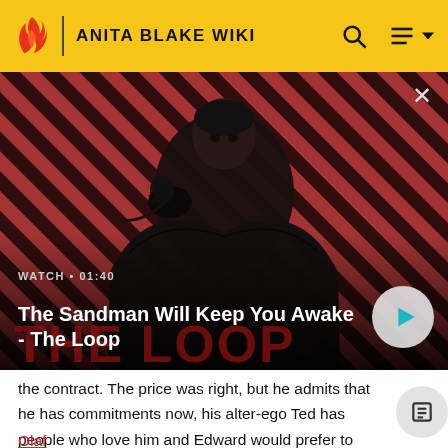ANITA BLAKE WIKI
[Figure (screenshot): Video thumbnail for 'The Sandman Will Keep You Awake - The Loop'. Shows a dark-cloaked figure with a black bird on shoulder against a red and black diagonal striped background. Play button overlay and WATCH · 01:40 label visible.]
The Sandman Will Keep You Awake - The Loop
the contract. The price was right, but he admits that he has commitments now, his alter-ego Ted has people who love him and Edward would prefer to return home to them than to fight something potentially more dangerous than he is.
Olaf